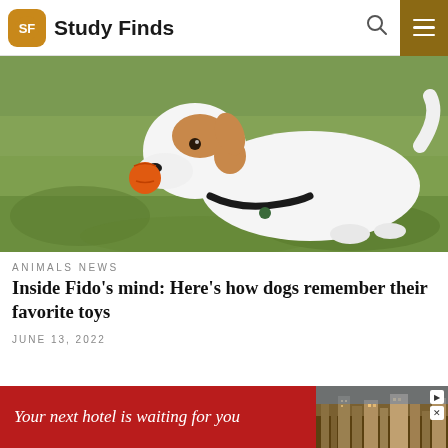Study Finds
[Figure (photo): A Jack Russell Terrier dog with a black collar holding an orange ball in its mouth, looking upward, set against a blurred green grass background.]
ANIMALS NEWS
Inside Fido's mind: Here's how dogs remember their favorite toys
JUNE 13, 2022
[Figure (other): Advertisement banner: 'Your next hotel is waiting for you' on a red background with a hotel/cityscape image on the right.]